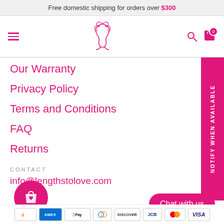Free domestic shipping for orders over $300
[Figure (logo): Pink flamingo/woman hair logo for L2L Hair Supply]
Our Warranty
Privacy Policy
Terms and Conditions
FAQ
Returns
CONTACT
info@lengthstolove.com
© L2L Hair Supply / Powered by
[Figure (other): Payment icons: Amazon, Amex, Apple Pay, Diners, Discover, JCB, Mastercard, Visa]